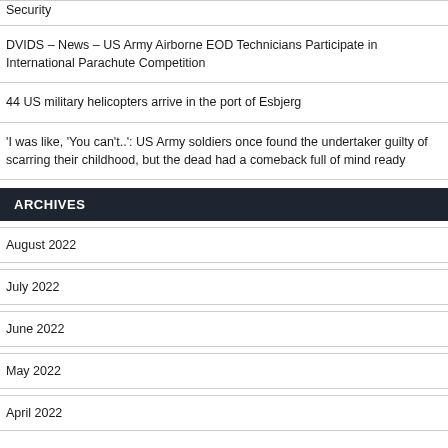Security
DVIDS – News – US Army Airborne EOD Technicians Participate in International Parachute Competition
44 US military helicopters arrive in the port of Esbjerg
'I was like, 'You can't..': US Army soldiers once found the undertaker guilty of scarring their childhood, but the dead had a comeback full of mind ready
ARCHIVES
August 2022
July 2022
June 2022
May 2022
April 2022